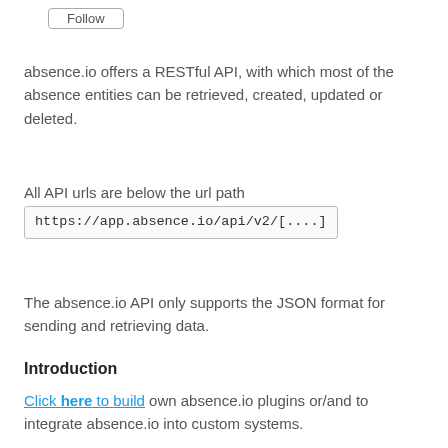[Figure (other): Follow button UI element]
absence.io offers a RESTful API, with which most of the absence entities can be retrieved, created, updated or deleted.
All API urls are below the url path
https://app.absence.io/api/v2/[....]
The absence.io API only supports the JSON format for sending and retrieving data.
Introduction
Click here to build own absence.io plugins or/and to integrate absence.io into custom systems.